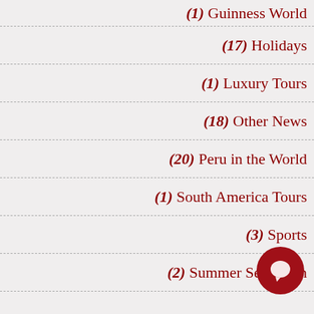(1) Guinness World
(17) Holidays
(1) Luxury Tours
(18) Other News
(20) Peru in the World
(1) South America Tours
(3) Sports
(2) Summer Season
[Figure (illustration): Red circular chat bubble icon in the bottom right area]